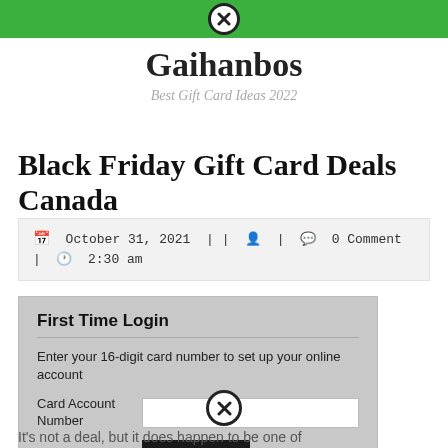Gaihanbos — Best Gift Card Ideas 2022
Gaihanbos
Best Gift Card Ideas 2022
Black Friday Gift Card Deals Canada
October 31, 2021 | | | 0 Comment | 2:30 am
[Figure (screenshot): First Time Login form with card number input and Enter button]
It's not a deal, but it does happen to be one of